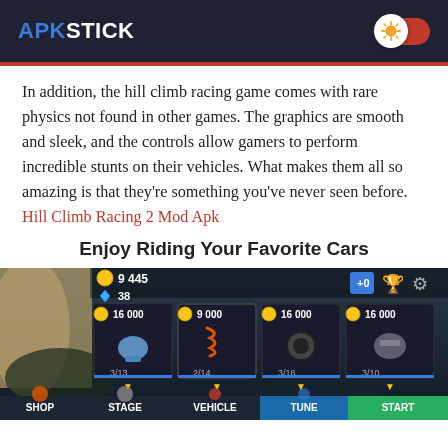APKSTICK
In addition, the hill climb racing game comes with rare physics not found in other games. The graphics are smooth and sleek, and the controls allow gamers to perform incredible stunts on their vehicles. What makes them all so amazing is that they're something you've never seen before. Hill Climb Racing 2 Mod Apk
Enjoy Riding Your Favorite Cars
[Figure (screenshot): Hill Climb Racing 2 game screenshot showing the upgrade shop screen with items costing 16,000, 9,000, 16,000, and 16,000 coins. Shows coins: 9,445 and diamonds: 38. Bottom navigation shows: SHOP, STAGE, VEHICLE, TUNE, START.]